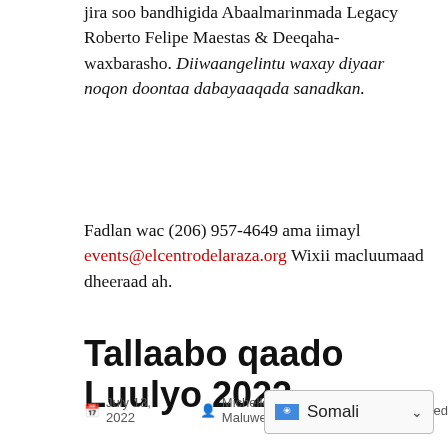jira soo bandhigida Abaalmarinmada Legacy Roberto Felipe Maestas & Deeqaha-waxbarasho. Diiwaangelintu waxay diyaar noqon doontaa dabayaaqada sanadkan.
Fadlan wac (206) 957-4649 ama iimayl events@elcentrodelaraza.org Wixii macluumaad dheeraad ah.
Tallaabo qaado Luulyo 2022
July 13, 2022  Michelle Maluwetig  Uncategorized